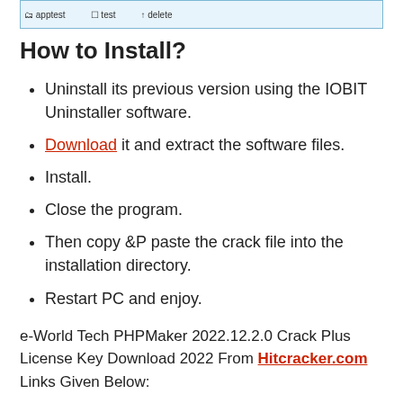[Figure (screenshot): A file explorer or application window showing folders/tabs labeled 'apptest', 'test', and 'delete' at the bottom.]
How to Install?
Uninstall its previous version using the IOBIT Uninstaller software.
Download it and extract the software files.
Install.
Close the program.
Then copy &P paste the crack file into the installation directory.
Restart PC and enjoy.
e-World Tech PHPMaker 2022.12.2.0 Crack Plus License Key Download 2022 From Hitcracker.com Links Given Below: